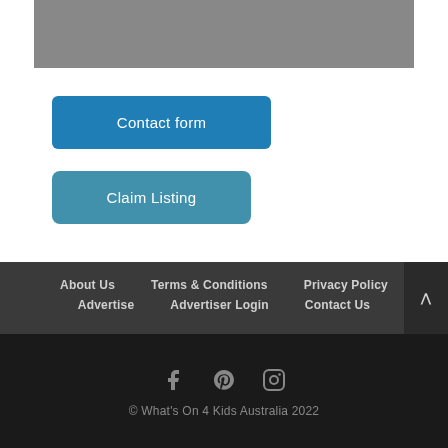[Figure (other): Gray placeholder image bar at top of page]
Contact form
Claim Listing
About Us  Terms & Conditions  Privacy Policy  Advertise  Advertiser Login  Contact Us
© What's On 4 Kids Australia 2022